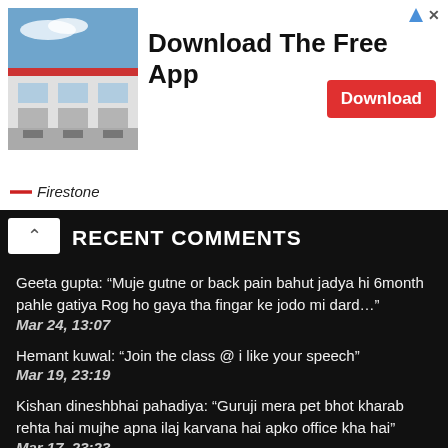[Figure (photo): Ad banner for Firestone app download. Shows a Firestone store photo on the left, bold text 'Download The Free App' in the center, a red 'Download' button on the right, and the Firestone brand name at the bottom left with a red dash logo.]
RECENT COMMENTS
Geeta gupta: “Muje gutne or back pain bahut jadya hi 6month pahle gatiya Rog ho gaya tha fingar ke jodo mi dard…” Mar 24, 13:07
Hemant kuwal: “Join the class @ i like your speech” Mar 19, 23:19
Kishan dineshbhai pahadiya: “Guruji mera pet bhot kharab rehta hai mujhe apna ilaj karvana hai apko office kha hai” Mar 17, 23:23
Nidhi Maheshwary: “Guruji, My AMH is 6.5. Fsh, tsh, prolactin all in normal range. Periods are regular(28 days), normal flow. I have…”